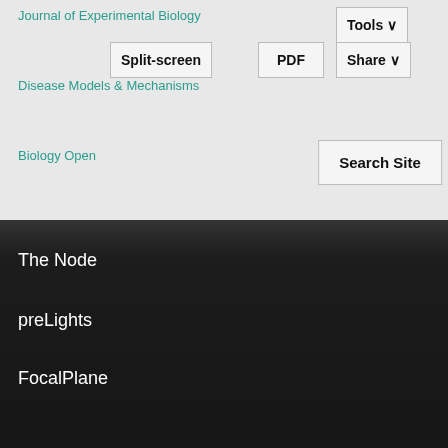Journal of Experimental Biology
Disease Models & Mechanisms
Biology Open
Split-screen
PDF
Share
Tools
Search Site
The Node
preLights
FocalPlane
Grants
Journal Meetings
Workshops
This site uses cookies. By continuing to use our website, you are agreeing to our privacy policy.
Accept y news